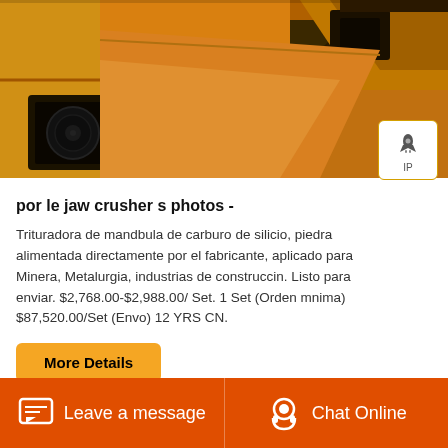[Figure (photo): Close-up photo of orange/yellow industrial jaw crusher machinery with black square opening visible]
por le jaw crusher s photos -
Trituradora de mandbula de carburo de silicio, piedra alimentada directamente por el fabricante, aplicado para Minera, Metalurgia, industrias de construccin. Listo para enviar. $2,768.00-$2,988.00/ Set. 1 Set (Orden mnima) $87,520.00/Set (Envo) 12 YRS CN.
More Details
Leave a message   Chat Online